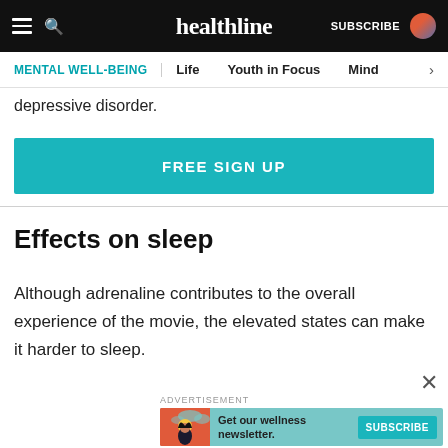healthline — SUBSCRIBE
MENTAL WELL-BEING | Life | Youth in Focus | Mind
depressive disorder.
[Figure (other): Teal FREE SIGN UP button]
Effects on sleep
Although adrenaline contributes to the overall experience of the movie, the elevated states can make it harder to sleep.
ADVERTISEMENT
[Figure (other): Advertisement banner: Get our wellness newsletter. SUBSCRIBE button with illustrated woman graphic.]